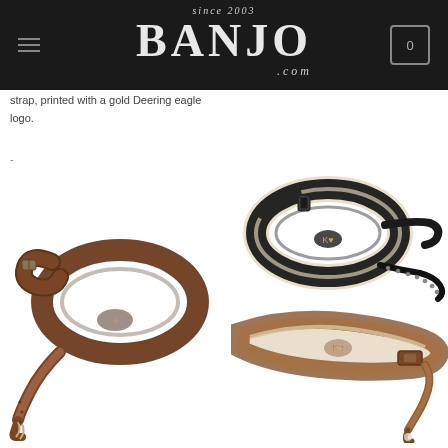[Figure (screenshot): Banjo.com website header with logo showing 'since 2003' above 'BANJO' in large serif font and '.com' below, on dark background. Hamburger menu icon on left, cart icon with '0' on right.]
strap, printed with a gold Deering eagle logo.
-
[Figure (photo): Brown leather banjo strap coiled, with Deering eagle logo imprinted]
[Figure (photo): Two banjo straps: a black strap coiled on top and a tan/brown leather strap with sheepskin lining below, both with Karma logo]